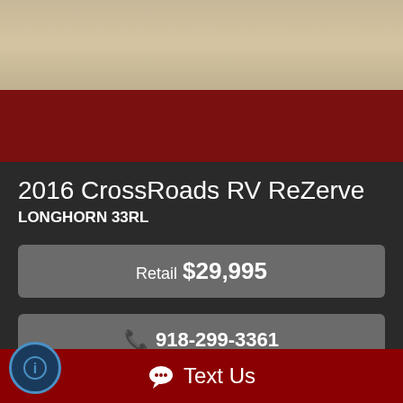[Figure (photo): Top portion of a vehicle or RV photo showing a concrete or gravel surface]
2016 CrossRoads RV ReZerve
LONGHORN 33RL
Retail $29,995
918-299-3361
Inquiry
Text Us